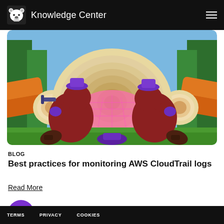Knowledge Center
[Figure (illustration): Illustrated cartoon of two beavers in a forest setting, facing each other over a large pink glowing circular saw cross-section of a log. They are wearing purple hard hats and appear to be working. Forest trees visible in background.]
BLOG
Best practices for monitoring AWS CloudTrail logs
Read More
[Figure (logo): Purple circle with white open book icon inside]
TERMS  PRIVACY  COOKIES